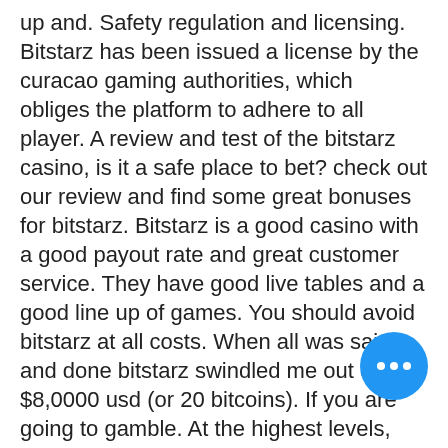up and. Safety regulation and licensing. Bitstarz has been issued a license by the curacao gaming authorities, which obliges the platform to adhere to all player. A review and test of the bitstarz casino, is it a safe place to bet? check out our review and find some great bonuses for bitstarz. Bitstarz is a good casino with a good payout rate and great customer service. They have good live tables and a good line up of games. You should avoid bitstarz at all costs. When all was said and done bitstarz swindled me out of over $8,0000 usd (or 20 bitcoins). If you are going to gamble. At the highest levels, players expect their online casinos to make sure they have protection from outside intruders. In order to secure the players, cubits establishes a manual check on cash-outs prior to processing them. In case, you are playing with fiat currency, it is Having an authoritative regulator is a key factor that makes us believe that an online casino is a
[Figure (other): Blue circular button with three horizontal dots (ellipsis/more options button)]